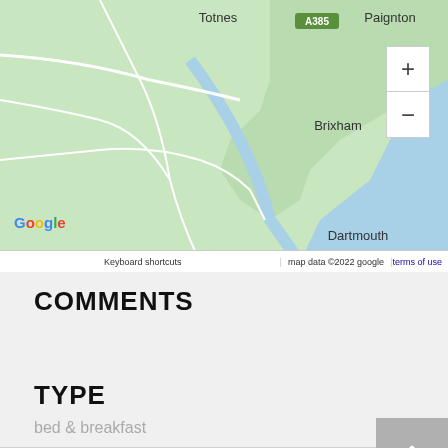[Figure (map): Google Maps showing coastal area of South Devon, UK, including Totnes, Paignton, Brixham, and Dartmouth, with A385 road marker, zoom controls (+/-), and map footer with keyboard shortcuts and copyright info.]
COMMENTS
TYPE
bed & breakfast
holiday cottages
other self catering